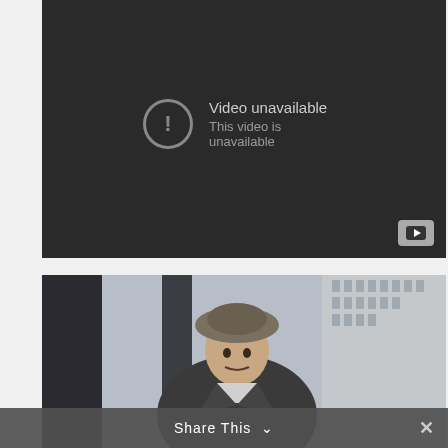[Figure (screenshot): YouTube video embed showing 'Video unavailable - This video is unavailable' error message on a dark background with YouTube logo in bottom right corner.]
[Figure (photo): Street photograph of a young Asian man wearing a grey tweed bucket hat and dark grey coat, with an urban street scene and buildings visible in the background.]
Share This ∨